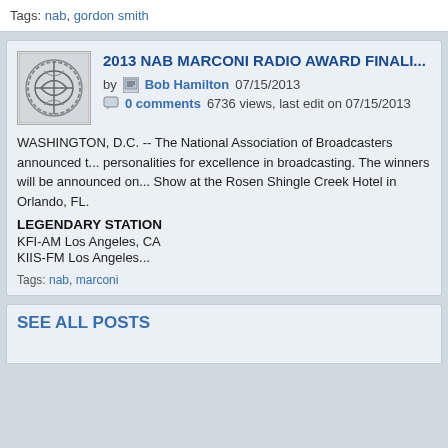Tags: nab, gordon smith
2013 NAB MARCONI RADIO AWARD FINALI...
by Bob Hamilton 07/15/2013
0 comments 6736 views, last edit on 07/15/2013
WASHINGTON, D.C. -- The National Association of Broadcasters announced t... personalities for excellence in broadcasting. The winners will be announced on... Show at the Rosen Shingle Creek Hotel in Orlando, FL.
LEGENDARY STATION
KFI-AM Los Angeles, CA
KIIS-FM Los Angeles...
Tags: nab, marconi
SEE ALL POSTS